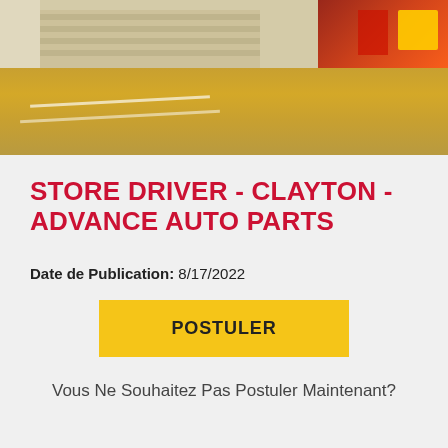[Figure (photo): Exterior photo of an Advance Auto Parts store with brick facade, sidewalk, and parking lot visible in warm golden light]
STORE DRIVER - CLAYTON - ADVANCE AUTO PARTS
Date de Publication: 8/17/2022
POSTULER
Vous Ne Souhaitez Pas Postuler Maintenant?